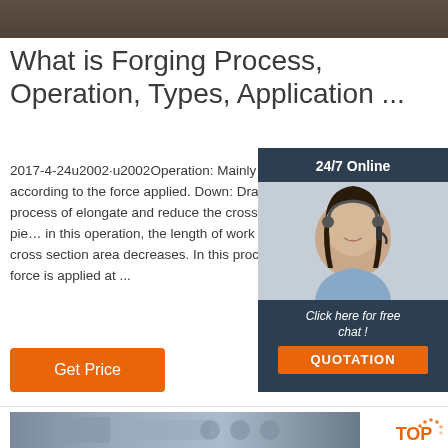[Figure (photo): Top banner showing industrial/forging equipment, dark brownish tones]
What is Forging Process, Operation, Types, Application ...
2017-4-24u2002·u2002Operation: Mainly forgi... two operations according to the force applied. Down: Drawing down is a process of elongate and reduce the cross section area of work pie… in this operation, the length of work piece incre… the cross section area decreases. In this proce… compressive force is applied at ...
[Figure (screenshot): 24/7 Online chat widget showing a woman with headset and 'Click here for free chat!' with QUOTATION button]
[Figure (photo): Bottom image showing industrial metal forging equipment/machinery, steel parts]
[Figure (logo): TOP button with orange dots circle in top-right area of bottom image]